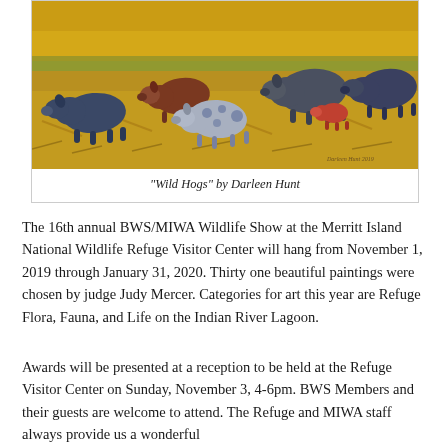[Figure (illustration): Painting of wild hogs grazing in a golden field. Multiple hogs of various colors — dark blue-gray, brown, reddish, and spotted — are depicted in a loose impressionistic style across a warm golden-yellow landscape with brush and grasses.]
"Wild Hogs" by Darleen Hunt
The 16th annual BWS/MIWA Wildlife Show at the Merritt Island National Wildlife Refuge Visitor Center will hang from November 1, 2019 through January 31, 2020. Thirty one beautiful paintings were chosen by judge Judy Mercer. Categories for art this year are Refuge Flora, Fauna, and Life on the Indian River Lagoon.
Awards will be presented at a reception to be held at the Refuge Visitor Center on Sunday, November 3, 4-6pm. BWS Members and their guests are welcome to attend. The Refuge and MIWA staff always provide us a wonderful